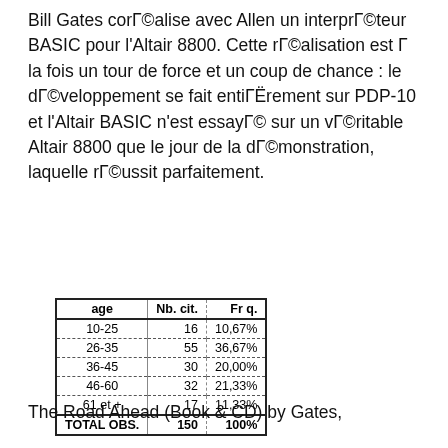Bill Gates corГ©alise avec Allen un interprГ©teur BASIC pour l'Altair 8800. Cette rГ©alisation est Г  la fois un tour de force et un coup de chance : le dГ©veloppement se fait entiГЁrement sur PDP-10 et l'Altair BASIC n'est essayГ© sur un vГ©ritable Altair 8800 que le jour de la dГ©monstration, laquelle rГ©ussit parfaitement.
| age | Nb. cit. | Fr q. |
| --- | --- | --- |
| 10-25 | 16 | 10,67% |
| 26-35 | 55 | 36,67% |
| 36-45 | 30 | 20,00% |
| 46-60 | 32 | 21,33% |
| 61 et + | 17 | 11,33% |
The Road Ahead (Book & CD) by Gates,